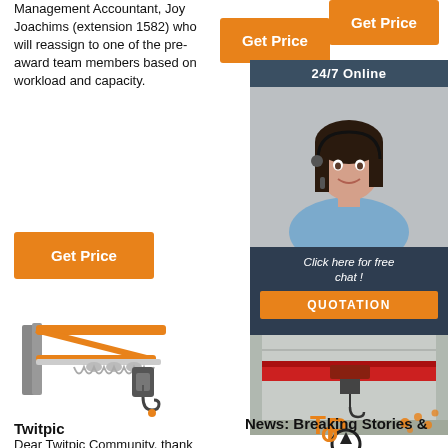Management Accountant, Joy Joachims (extension 1582) who will reassign to one of the pre-award team members based on workload and capacity.
[Figure (other): Orange 'Get Price' button (center column)]
[Figure (other): Orange 'Get Price' button (right column top)]
[Figure (other): Orange 'Get Price' button (left column bottom)]
[Figure (illustration): 24/7 Online customer service widget with photo of woman with headset, 'Click here for free chat!' text and orange QUOTATION button]
[Figure (photo): Illustration of a yellow wall-mounted jib crane with electric hoist]
[Figure (photo): Photo of a red overhead crane in an industrial building]
[Figure (other): TOP badge/icon with upward arrow]
Twitpic
Dear Twitpic Community, thank
News: Breaking Stories &